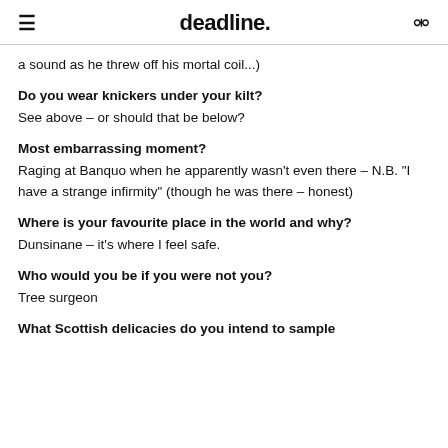deadline.
a sound as he threw off his mortal coil...)
Do you wear knickers under your kilt?
See above – or should that be below?
Most embarrassing moment?
Raging at Banquo when he apparently wasn't even there – N.B. "I have a strange infirmity" (though he was there – honest)
Where is your favourite place in the world and why?
Dunsinane – it's where I feel safe.
Who would you be if you were not you?
Tree surgeon
What Scottish delicacies do you intend to sample